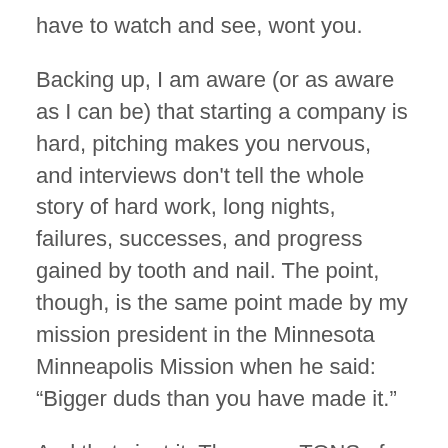have to watch and see, wont you.
Backing up, I am aware (or as aware as I can be) that starting a company is hard, pitching makes you nervous, and interviews don't tell the whole story of hard work, long nights, failures, successes, and progress gained by tooth and nail. The point, though, is the same point made by my mission president in the Minnesota Minneapolis Mission when he said: “Bigger duds than you have made it.”
And thats just it. There are TONS of founders out there who are smarter and more talented than me. But there are also TONS of founders out there who are not.
When that realization hits me, I can't help